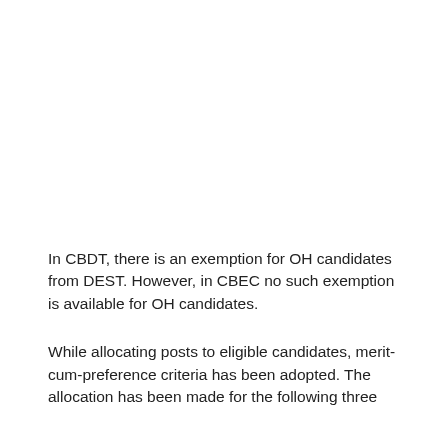In CBDT, there is an exemption for OH candidates from DEST. However, in CBEC no such exemption is available for OH candidates.
While allocating posts to eligible candidates, merit-cum-preference criteria has been adopted. The allocation has been made for the following three